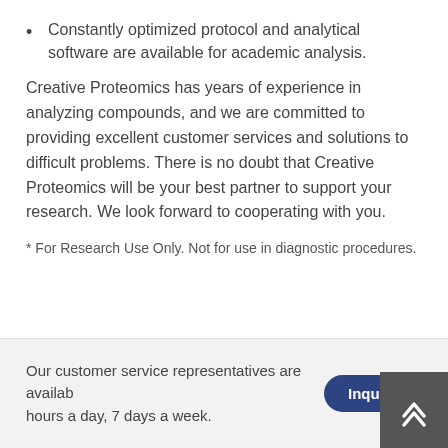Constantly optimized protocol and analytical software are available for academic analysis.
Creative Proteomics has years of experience in analyzing compounds, and we are committed to providing excellent customer services and solutions to difficult problems. There is no doubt that Creative Proteomics will be your best partner to support your research. We look forward to cooperating with you.
* For Research Use Only. Not for use in diagnostic procedures.
Our customer service representatives are available 24 hours a day, 7 days a week.